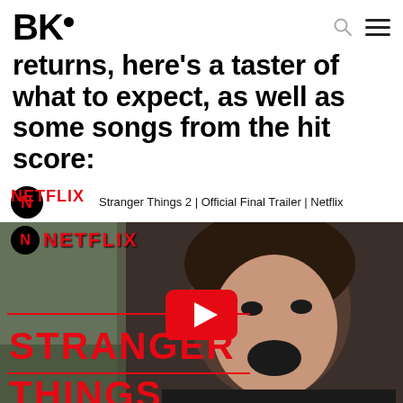BK•
returns, here's a taster of what to expect, as well as some songs from the hit score:
[Figure (screenshot): YouTube video embed showing Stranger Things 2 Official Final Trailer on Netflix. Shows a teenage boy with curly hair screaming, Netflix logo bar at top with title 'Stranger Things 2 | Official Final Trailer | Netflix', YouTube play button in center, Stranger Things logo at bottom, 'Watch on YouTube' footer bar.]